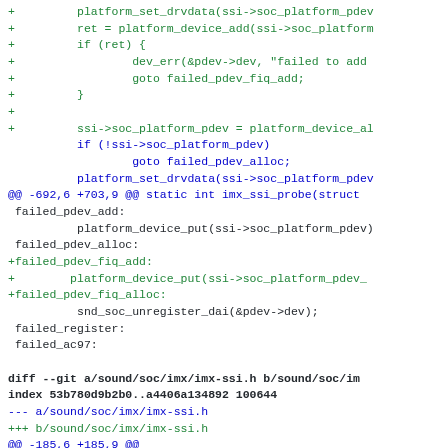[Figure (screenshot): A code diff snippet showing added lines in green and context lines in dark blue/black, displaying C source code for Linux kernel SSI driver changes, followed by a git diff header for imx-ssi.h file.]